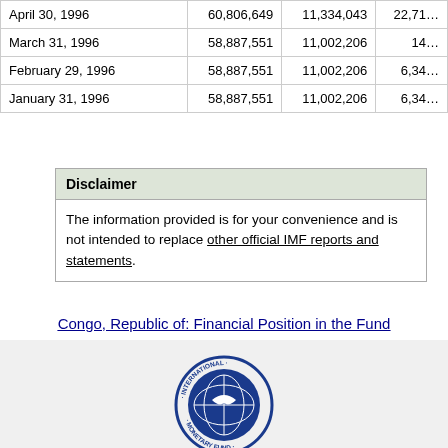| Date | Col2 | Col3 | Col4 |
| --- | --- | --- | --- |
| April 30, 1996 | 60,806,649 | 11,334,043 | 22,71… |
| March 31, 1996 | 58,887,551 | 11,002,206 | 14… |
| February 29, 1996 | 58,887,551 | 11,002,206 | 6,34… |
| January 31, 1996 | 58,887,551 | 11,002,206 | 6,34… |
Disclaimer
The information provided is for your convenience and is not intended to replace other official IMF reports and statements.
Congo, Republic of: Financial Position in the Fund
[Figure (logo): International Monetary Fund circular logo with globe and text]